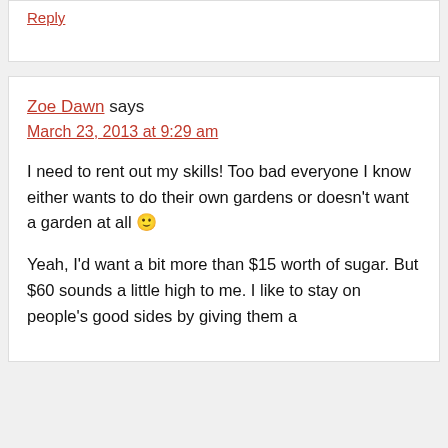Reply
Zoe Dawn says
March 23, 2013 at 9:29 am
I need to rent out my skills! Too bad everyone I know either wants to do their own gardens or doesn't want a garden at all 🙂
Yeah, I'd want a bit more than $15 worth of sugar. But $60 sounds a little high to me. I like to stay on people's good sides by giving them a